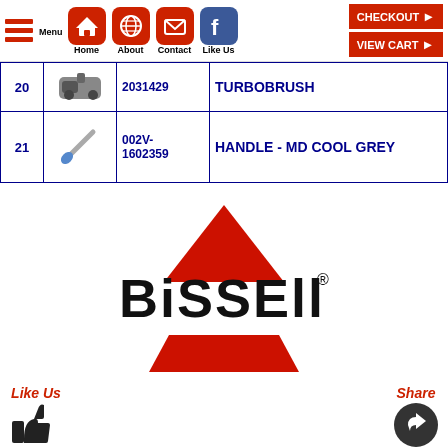[Figure (screenshot): Navigation bar with Menu, Home, About, Contact, Like Us icons and CHECKOUT / VIEW CART buttons]
| # | Image | Part Number | Description |
| --- | --- | --- | --- |
| 20 | [image] | 2031429 | TURBOBRUSH |
| 21 | [image] | 002V-1602359 | HANDLE - MD COOL GREY |
[Figure (logo): BISSELL logo with red triangle above and red trapezoid below, black BISSELL text with registered trademark symbol]
Like Us
Share